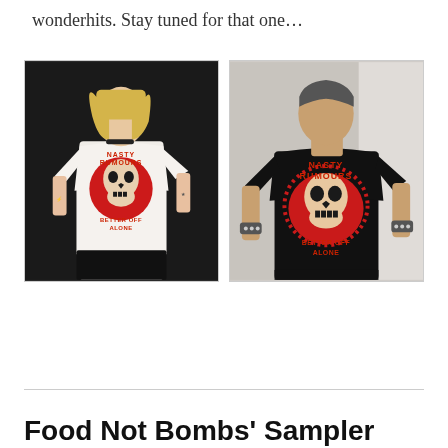wonderhits. Stay tuned for that one...
[Figure (photo): Two people wearing Nasty Rumours 'Better Off Alone' t-shirts — left photo shows a woman in a white t-shirt with red skull graphic, right photo shows a man in a black t-shirt with the same red skull graphic.]
Food Not Bombs' Sampler